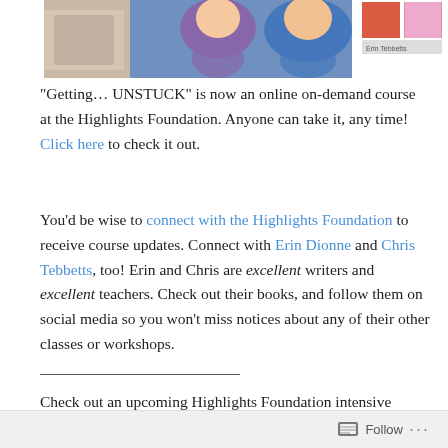[Figure (photo): Row of photos at top: partial photo on left (person in sparkly outfit), center large photo of two smiling people (woman in purple, man in blue), and right side showing book covers and text 'Erin Tebbetts']
“Getting… UNSTUCK” is now an online on-demand course at the Highlights Foundation. Anyone can take it, any time! Click here to check it out.
You’d be wise to connect with the Highlights Foundation to receive course updates. Connect with Erin Dionne and Chris Tebbetts, too! Erin and Chris are excellent writers and excellent teachers. Check out their books, and follow them on social media so you won’t miss notices about any of their other classes or workshops.
Check out an upcoming Highlights Foundation intensive weekend workshop with Erin Dionne and Chris Tebbetts